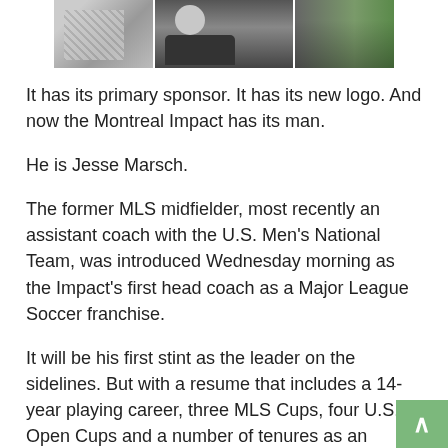[Figure (photo): A strip of three photos showing figures in sports/formal attire, likely the Montreal Impact coaching staff announcement.]
It has its primary sponsor. It has its new logo. And now the Montreal Impact has its man.
He is Jesse Marsch.
The former MLS midfielder, most recently an assistant coach with the U.S. Men's National Team, was introduced Wednesday morning as the Impact's first head coach as a Major League Soccer franchise.
It will be his first stint as the leader on the sidelines. But with a resume that includes a 14-year playing career, three MLS Cups, four U.S. Open Cups and a number of tenures as an assistant coach, he fit right into what the team was looking for.